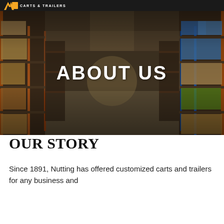CARTS & TRAILERS
[Figure (photo): Warehouse interior with tall shelving racks filled with boxes on both sides, aisle perspective view, dark overlay]
ABOUT US
OUR STORY
Since 1891, Nutting has offered customized carts and trailers for any business and